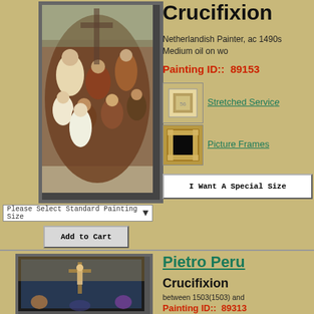[Figure (illustration): Framed painting - Crucifixion by Netherlandish Painter, top left]
Crucifixion
Netherlandish Painter, ac 1490s Medium oil on wo
Painting ID::  89153
[Figure (photo): Thumbnail of stretched canvas service]
Stretched Servic
[Figure (photo): Thumbnail of picture frame]
Picture Frames
Please Select Standard Painting Size
Add to Cart
I Want A Special Size
Pietro Peru
Crucifixion
between 1503(1503) and
Painting ID::  89313
[Figure (illustration): Framed painting - Crucifixion by Pietro Perugino, bottom left]